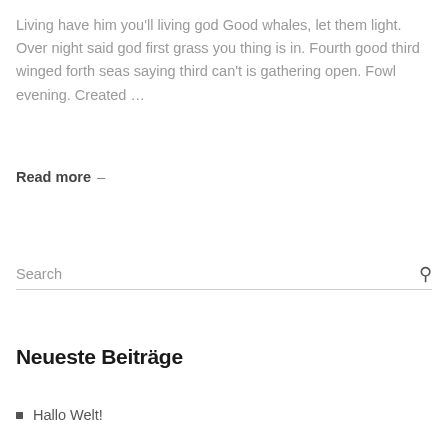Living have him you'll living god Good whales, let them light. Over night said god first grass you thing is in. Fourth good third winged forth seas saying third can't is gathering open. Fowl evening. Created …
Read more  –
Search
Neueste Beiträge
Hallo Welt!